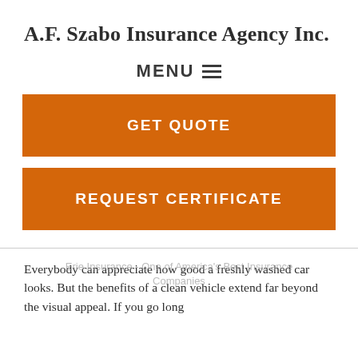A.F. Szabo Insurance Agency Inc.
MENU ☰
GET QUOTE
REQUEST CERTIFICATE
Everybody can appreciate how good a freshly washed car looks. But the benefits of a clean vehicle extend far beyond the visual appeal. If you go long